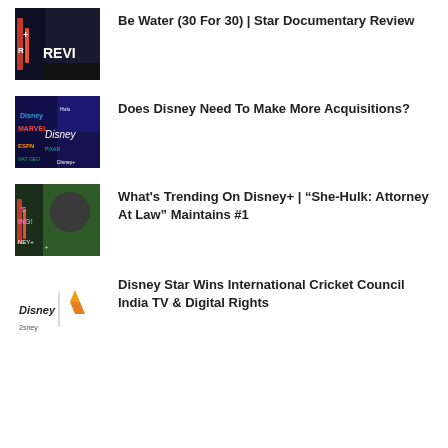[Figure (photo): Disney+ Star documentary review thumbnail with dark background and 'REVI' text overlay]
Be Water (30 For 30) | Star Documentary Review
[Figure (photo): Disney brand logos collage thumbnail with Disney, Marvel, ESPN, Pixar, National Geographic logos on dark background]
Does Disney Need To Make More Acquisitions?
[Figure (photo): Disney+ What's Trending thumbnail showing a person in hoodie with 'DING!' and 'NEY+' text overlay]
What's Trending On Disney+ | “She-Hulk: Attorney At Law” Maintains #1
[Figure (logo): Disney Star logo with star icon on white background]
Disney Star Wins International Cricket Council India TV & Digital Rights